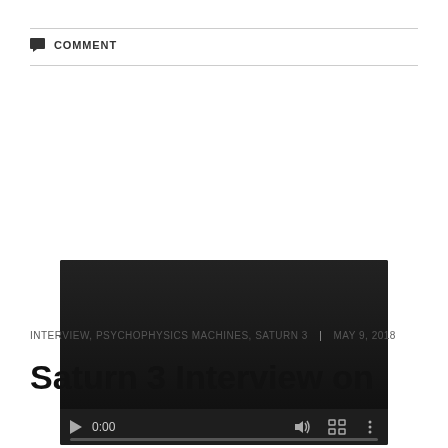COMMENT
[Figure (screenshot): Embedded video player showing a dark/black video area with playback controls at the bottom including a play button, time display showing 0:00, volume, fullscreen, and options icons, with a progress bar at the bottom.]
INTERVIEW, PSYCHOPHYSICS MACHINES, SATURN 3 | MAY 9, 2018
Saturn 3 Interview on